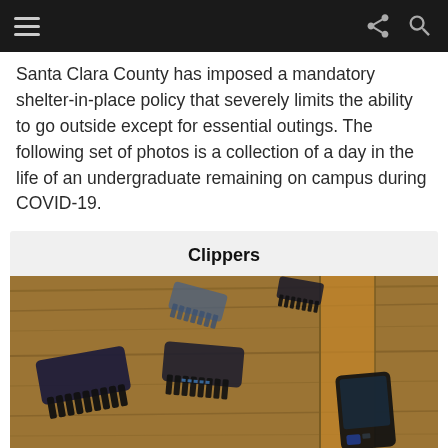Navigation bar with hamburger menu, share icon, and search icon
Santa Clara County has imposed a mandatory shelter-in-place policy that severely limits the ability to go outside except for essential outings. The following set of photos is a collection of a day in the life of an undergraduate remaining on campus during COVID-19.
Clippers
[Figure (photo): Overhead view of multiple hair clipper guide combs and accessories arranged on a wooden surface]